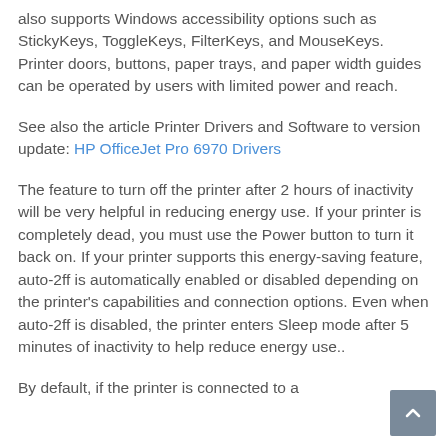also supports Windows accessibility options such as StickyKeys, ToggleKeys, FilterKeys, and MouseKeys. Printer doors, buttons, paper trays, and paper width guides can be operated by users with limited power and reach.
See also the article Printer Drivers and Software to version update: HP OfficeJet Pro 6970 Drivers
The feature to turn off the printer after 2 hours of inactivity will be very helpful in reducing energy use. If your printer is completely dead, you must use the Power button to turn it back on. If your printer supports this energy-saving feature, auto-2ff is automatically enabled or disabled depending on the printer's capabilities and connection options. Even when auto-2ff is disabled, the printer enters Sleep mode after 5 minutes of inactivity to help reduce energy use..
By default, if the printer is connected to a